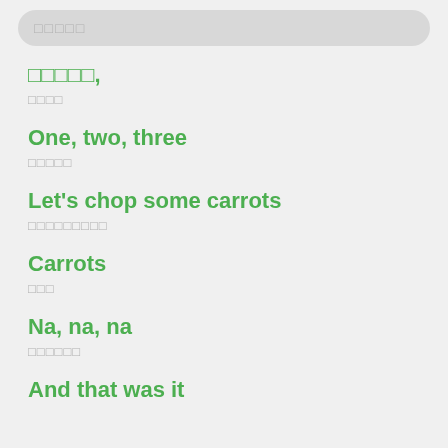□□□□□
□□□□□,
□□□□
One, two, three
□□□□□
Let's chop some carrots
□□□□□□□□□
Carrots
□□□
Na, na, na
□□□□□□
And that was it